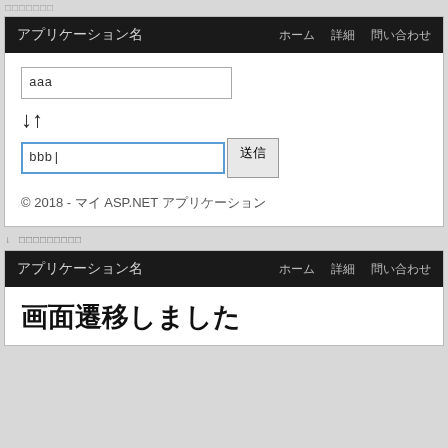□□□□□□□
[Figure (screenshot): Web application screenshot showing navigation bar with 'アプリケーション名', 'ホーム', '詳細', '問い合わせ', a text input with 'aaa', up/down arrows, a second input with 'bbb' and a 送信 button, and footer '© 2018 - マイ ASP.NET アプリケーション']
↓ □□□□□□□□□
[Figure (screenshot): Web application screenshot showing navigation bar and page heading '画面遷移しました']